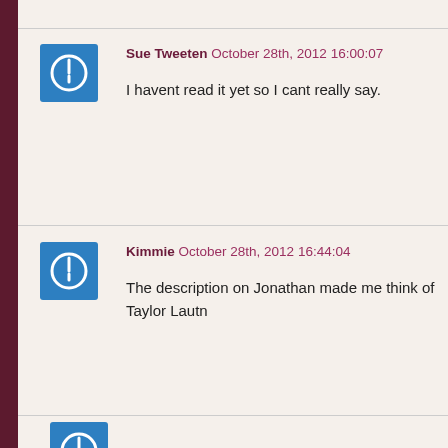Sue Tweeten October 28th, 2012 16:00:07
I havent read it yet so I cant really say.
Kimmie October 28th, 2012 16:44:04
The description on Jonathan made me think of Taylor Lautn